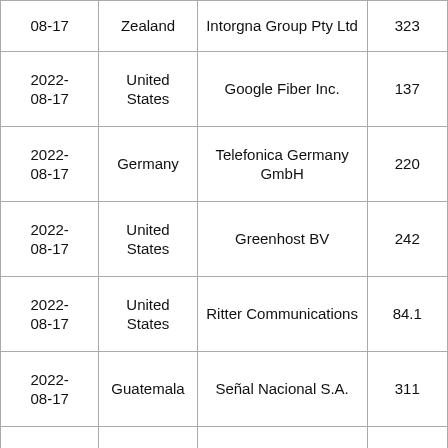| Date | Country | Organization | Value |
| --- | --- | --- | --- |
| 2022-08-17 | New Zealand | Intergna Group Pty Ltd | 323 |
| 2022-08-17 | United States | Google Fiber Inc. | 137 |
| 2022-08-17 | Germany | Telefonica Germany GmbH | 220 |
| 2022-08-17 | United States | Greenhost BV | 242 |
| 2022-08-17 | United States | Ritter Communications | 84.1 |
| 2022-08-17 | Guatemala | Señal Nacional S.A. | 311 |
| 2022-08-17 | United States | Cablevision Systems Corp. | 28.8 |
| 2022-08-17 |  |  |  |